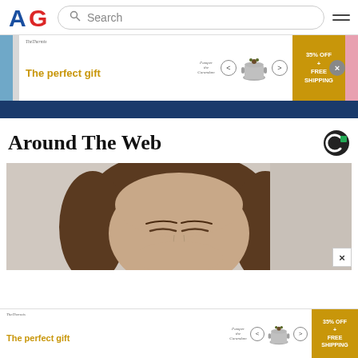AG | Search | menu
[Figure (photo): Advertisement banner: 'The perfect gift' with product image of a pot and 35% OFF + FREE SHIPPING offer, with navigation arrows and close button]
[Figure (photo): Dark navy blue bar below the top advertisement]
Around The Web
[Figure (photo): Close-up photograph of a woman's face with brown hair, eyes closed, against a light background]
[Figure (photo): Bottom advertisement banner: 'The perfect gift' with product image of a pot and 35% OFF + FREE SHIPPING offer]